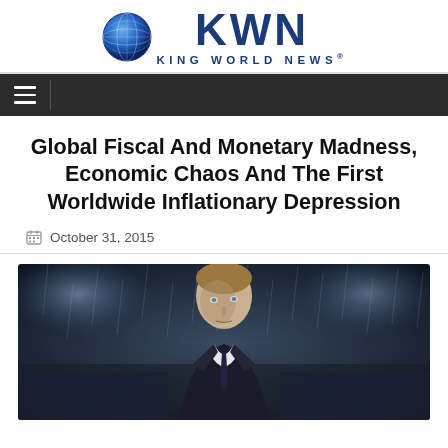[Figure (logo): King World News logo with globe icon and blue KWN text with KING WORLD NEWS subtitle]
Navigation bar with hamburger menu icon
Global Fiscal And Monetary Madness, Economic Chaos And The First Worldwide Inflationary Depression
October 31, 2015
[Figure (photo): Man in suit looking upward in rain with stadium lights in background]